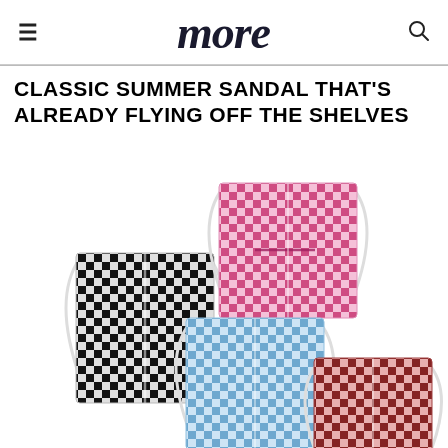more
CLASSIC SUMMER SANDAL THAT'S ALREADY FLYING OFF THE SHELVES
[Figure (photo): Four gingham-patterned fabric face masks arranged overlapping on a white background. Colors: black-and-white gingham (left), pink gingham (top right), light blue gingham (center bottom), dark red/burgundy gingham (bottom right). Each mask has white elastic ear loops.]